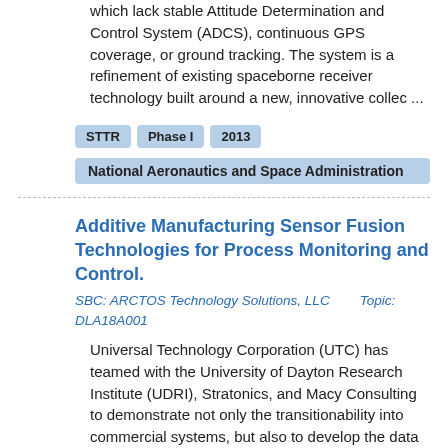which lack stable Attitude Determination and Control System (ADCS), continuous GPS coverage, or ground tracking. The system is a refinement of existing spaceborne receiver technology built around a new, innovative collec ...
STTR
Phase I
2013
National Aeronautics and Space Administration
Additive Manufacturing Sensor Fusion Technologies for Process Monitoring and Control.
SBC: ARCTOS Technology Solutions, LLC        Topic: DLA18A001
Universal Technology Corporation (UTC) has teamed with the University of Dayton Research Institute (UDRI), Stratonics, and Macy Consulting to demonstrate not only the transitionability into commercial systems, but also to develop the data analytics and monitoring and control requirements to extract the full value.